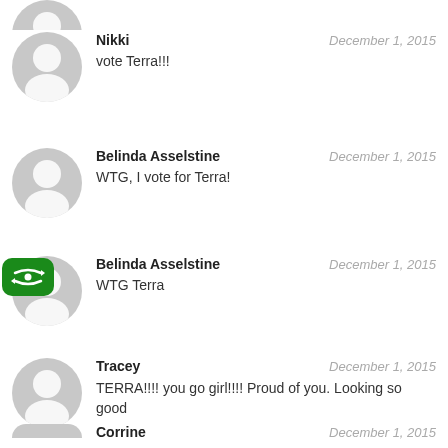Nikki — December 1, 2015 — vote Terra!!!
Belinda Asselstine — December 1, 2015 — WTG, I vote for Terra!
Belinda Asselstine — December 1, 2015 — WTG Terra
Tracey — December 1, 2015 — TERRA!!!! you go girl!!!! Proud of you. Looking so good
Corrine — December 1, 2015